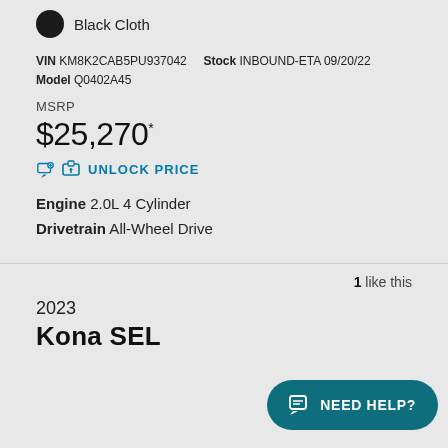Black Cloth
VIN KM8K2CAB5PU937042   Stock INBOUND-ETA 09/20/22   Model Q0402A45
MSRP
$25,270*
UNLOCK PRICE
Engine 2.0L 4 Cylinder
Drivetrain All-Wheel Drive
1 like this
2023
Kona SEL
IMAGE COMING SO...
NEED HELP?